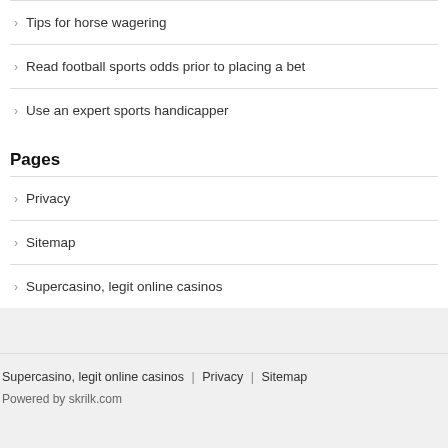Tips for horse wagering
Read football sports odds prior to placing a bet
Use an expert sports handicapper
Pages
Privacy
Sitemap
Supercasino, legit online casinos
Supercasino, legit online casinos | Privacy | Sitemap
Powered by skrilk.com